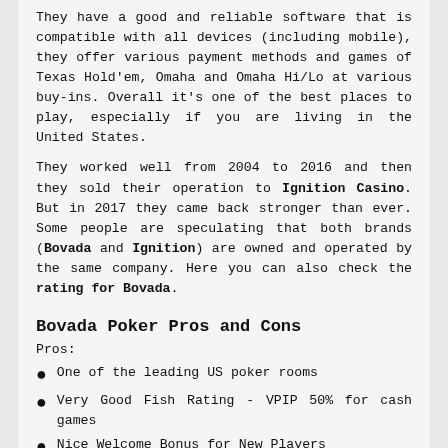They have a good and reliable software that is compatible with all devices (including mobile), they offer various payment methods and games of Texas Hold'em, Omaha and Omaha Hi/Lo at various buy-ins. Overall it's one of the best places to play, especially if you are living in the United States.
They worked well from 2004 to 2016 and then they sold their operation to Ignition Casino. But in 2017 they came back stronger than ever. Some people are speculating that both brands (Bovada and Ignition) are owned and operated by the same company. Here you can also check the rating for Bovada.
Bovada Poker Pros and Cons
Pros:
One of the leading US poker rooms
Very Good Fish Rating - VPIP 50% for cash games
Nice Welcome Bonus for New Players
...